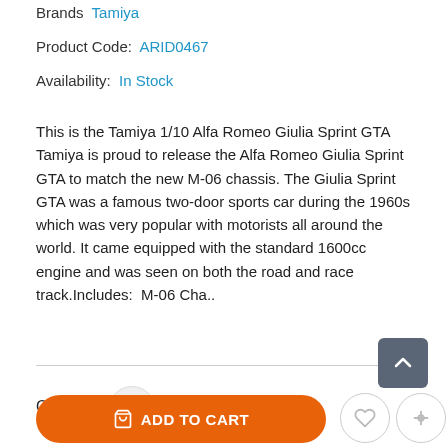Brands: Tamiya
Product Code: ARID0467
Availability: In Stock
This is the Tamiya 1/10 Alfa Romeo Giulia Sprint GTA Tamiya is proud to release the Alfa Romeo Giulia Sprint GTA to match the new M-06 chassis. The Giulia Sprint GTA was a famous two-door sports car during the 1960s which was very popular with motorists all around the world. It came equipped with the standard 1600cc engine and was seen on both the road and race track.Includes: M-06 Cha..